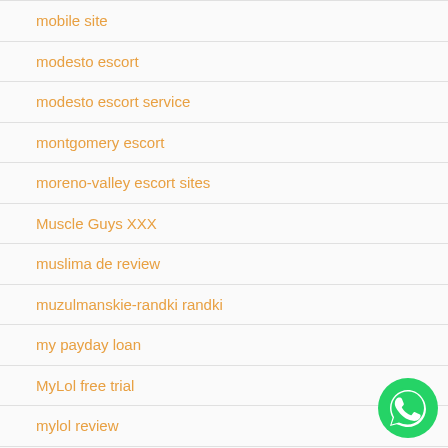mobile site
modesto escort
modesto escort service
montgomery escort
moreno-valley escort sites
Muscle Guys XXX
muslima de review
muzulmanskie-randki randki
my payday loan
MyLol free trial
mylol review